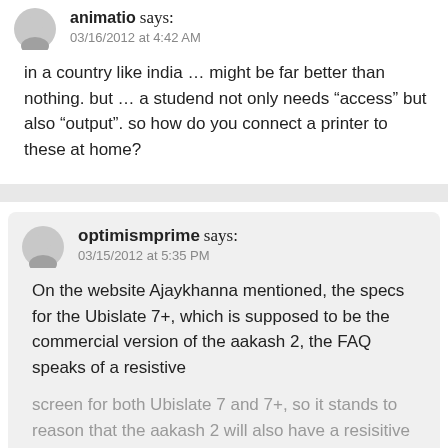animatio says:
03/16/2012 at 4:42 AM
in a country like india … might be far better than nothing. but … a studend not only needs “access” but also “output”. so how do you connect a printer to these at home?
optimismprime says:
03/15/2012 at 5:35 PM
On the website Ajaykhanna mentioned, the specs for the Ubislate 7+, which is supposed to be the commercial version of the aakash 2, the FAQ speaks of a resistive screen for both Ubislate 7 and 7+, so it stands to reason that the aakash 2 will also have a resisitive screen, which in turn would make the reported “capacitive” screen in